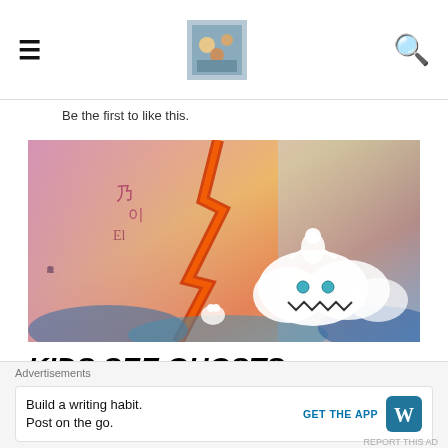Navigation header with hamburger menu, logo image, and search icon
Be the first to like this.
[Figure (illustration): Kids See Ghosts album cover art — colorful background with orange, pink, blue tones, Japanese characters on left, ghost monster character in center-right with small figure on top]
KIDS SEE GHOSTS BRINGS THE INDUSTRY
Advertisements
Build a writing habit. Post on the go. GET THE APP